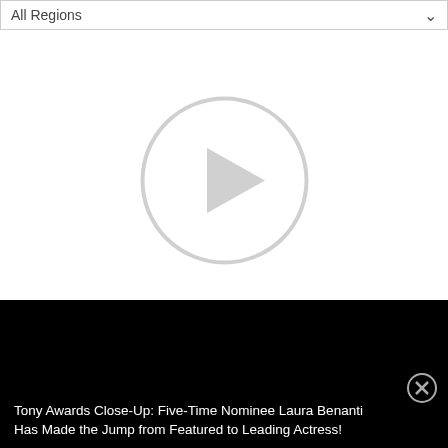All Regions
[Figure (other): Video player placeholder with a circular play button icon on white background]
Browse photos from live + streaming theatre in New Jersey.
NEW JERSEY PHOTOS
Tony Awards Close-Up: Five-Time Nominee Laura Benanti Has Made the Jump from Featured to Leading Actress!